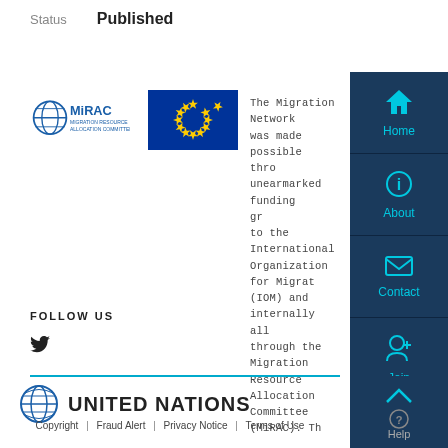Status    Published
[Figure (logo): MiRAC (Migration Resource Allocation Committee) logo and EU flag side by side]
The Migration Network was made possible through unearmarked funding granted to the International Organization for Migration (IOM) and internally allocated through the Migration Resource Allocation Committee (MiRAC). The hub is also co-funded by the European Union.
FOLLOW US
[Figure (logo): Twitter bird icon]
[Figure (logo): United Nations logo and UNITED NATIONS text]
Copyright | Fraud Alert | Privacy Notice | Terms of Use